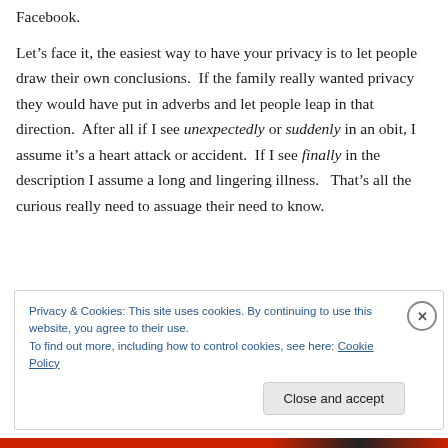Facebook.
Let’s face it, the easiest way to have your privacy is to let people draw their own conclusions.  If the family really wanted privacy they would have put in adverbs and let people leap in that direction.  After all if I see unexpectedly or suddenly in an obit, I assume it’s a heart attack or accident.  If I see finally in the description I assume a long and lingering illness.   That’s all the curious really need to assuage their need to know.
Privacy & Cookies: This site uses cookies. By continuing to use this website, you agree to their use.
To find out more, including how to control cookies, see here: Cookie Policy
Close and accept